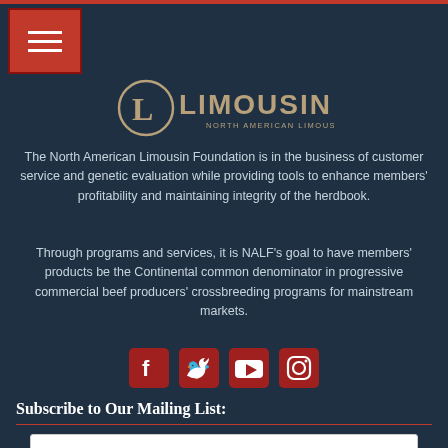[Figure (logo): North American Limousin Foundation logo with circular L emblem and LIMOUSIN text in tan/gold]
The North American Limousin Foundation is in the business of customer service and genetic evaluation while providing tools to enhance members' profitability and maintaining integrity of the herdbook.
Through programs and services, it is NALF's goal to have members' products be the Continental common denominator in progressive commercial beef producers' crossbreeding programs for mainstream markets.
[Figure (infographic): Social media icons row: Facebook, Twitter, YouTube, Instagram — all in red/dark red color]
Subscribe to Our Mailing List:
Email Address (REQUIRED)